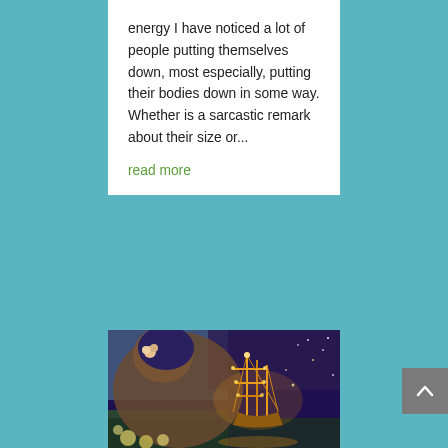energy I have noticed a lot of people putting themselves down, most especially, putting their bodies down in some way. Whether is a sarcastic remark about their size or...
read more
[Figure (illustration): Fantasy illustration painting of a large woman with flowers in her hair bending over, gazing at a glowing illuminated sailing ship held in a person's hands, surrounded by flowers and sparkles, in a richly colored mystical nighttime scene.]